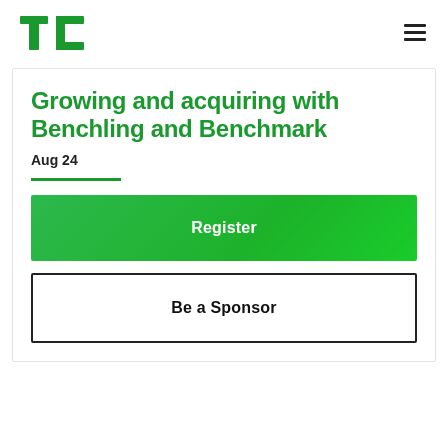TechCrunch logo and navigation menu
Growing and acquiring with Benchling and Benchmark
Aug 24
Register
Be a Sponsor